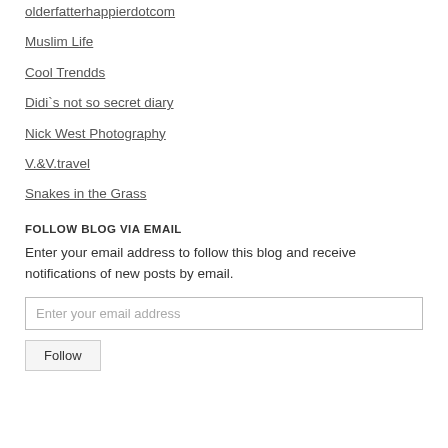olderfatterhappierdotcom
Muslim Life
Cool Trendds
Didi`s not so secret diary
Nick West Photography
V.&V.travel
Snakes in the Grass
FOLLOW BLOG VIA EMAIL
Enter your email address to follow this blog and receive notifications of new posts by email.
Enter your email address
Follow